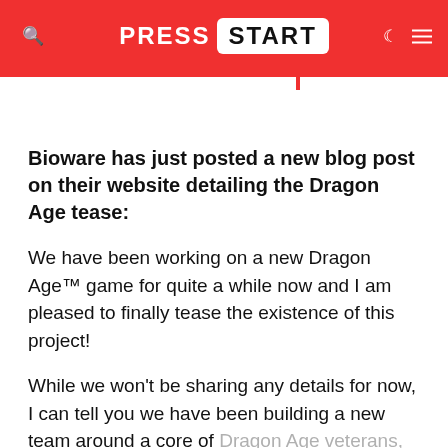PRESS START
Bioware has just posted a new blog post on their website detailing the Dragon Age tease:
We have been working on a new Dragon Age™ game for quite a while now and I am pleased to finally tease the existence of this project!
While we won't be sharing any details for now, I can tell you we have been building a new team around a core of Dragon Age veterans, people I've worked with on Dragon Age, Jade Empire™, and some of whom I've